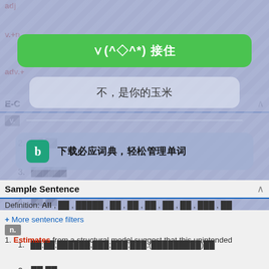[Figure (screenshot): Mobile dictionary app screenshot showing an overlay modal with two buttons: a green button reading '∨(^◇^*)接住' and a gray button reading '不，是你的玉米', followed by a Bing Dictionary download banner. Behind the overlay is a dictionary entry with E-C section, verb and noun definitions in Chinese characters (shown as squares), Sample Sentence section, and definition filters.]
v.+n
adv.+
E-C
v.
2. ██,██
3. ██████
4. ██,██
n.
1. ██;██;██████,███;███;███;(█████████)██
2. ██,██
Sample Sentence
Definition: All , ██ , █████ , ██ , ██ , ██ , ██ , ██ , ███ , ██
+ More sentence filters
1. Estimates from a structural model suggest that this unintended